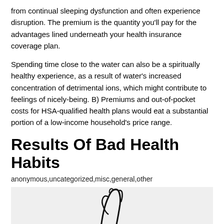from continual sleeping dysfunction and often experience disruption. The premium is the quantity you'll pay for the advantages lined underneath your health insurance coverage plan.
Spending time close to the water can also be a spiritually healthy experience, as a result of water's increased concentration of detrimental ions, which might contribute to feelings of nicely-being. B) Premiums and out-of-pocket costs for HSA-qualified health plans would eat a substantial portion of a low-income household's price range.
Results Of Bad Health Habits
anonymous,uncategorized,misc,general,other
[Figure (photo): Partial image of a figure, appears to show a dark silhouette or sketch on a light background]
We use cookies on our website to give you the most